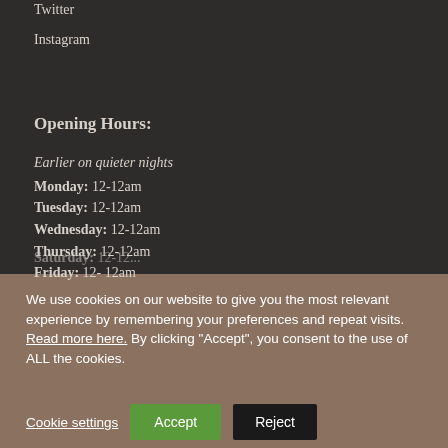Twitter
Instagram
Opening Hours:
Earlier on quieter nights
Monday: 12-12am
Tuesday: 12-12am
Wednesday: 12-12am
Thursday: 12-12am
Friday: 12- 12am
Saturday: 12-12...
We use cookies on our website to give you the most relevant experience by remembering your preferences and repeat visits. Read more here. By clicking “Accept”, you consent to the use of ALL the cookies.
Cookie settings
Accept
Reject